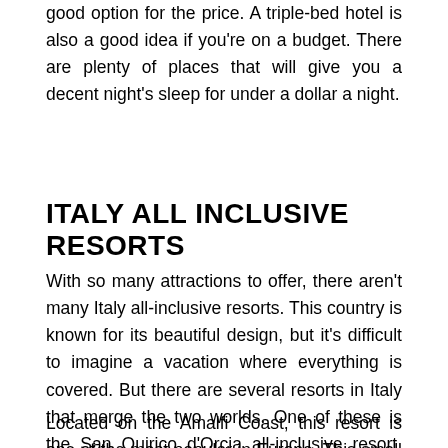good option for the price. A triple-bed hotel is also a good idea if you're on a budget. There are plenty of places that will give you a decent night's sleep for under a dollar a night.
ITALY ALL INCLUSIVE RESORTS
With so many attractions to offer, there aren't many Italy all-inclusive resorts. This country is known for its beautiful design, but it's difficult to imagine a vacation where everything is covered. But there are several resorts in Italy that merge the two worlds. One of these is the San Quirico d'Orcia all-inclusive resort. It's been named the best in the world and boasts a private beach.
Located on the Amalfi Coast, this resort is one of the most popular in Europe. This small village has 57